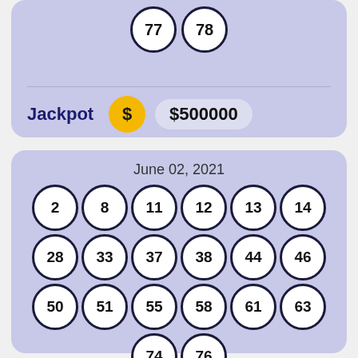[Figure (other): Lottery ticket top card showing balls 77 and 78, a divider line, and a Jackpot row with a dollar coin icon and $500000 amount]
[Figure (other): Lottery ticket card for June 02, 2021 showing 20 numbered balls: 2, 8, 11, 12, 13, 14, 28, 33, 37, 38, 44, 46, 50, 51, 55, 58, 61, 63, 74, 76]